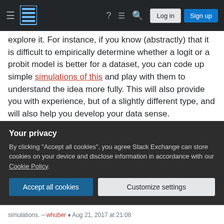Stack Exchange navigation bar with hamburger menu, logo, help icon, chat icon, search icon, Log in button, Sign up button
explore it. For instance, if you know (abstractly) that it is difficult to empirically determine whether a logit or a probit model is better for a dataset, you can code up simple simulations of this and play with them to understand the idea more fully. This will also provide you with experience, but of a slightly different type, and will also help you develop your data sense.
Share   Cite
Improve this answer
Follow
edited Apr 13, 2017 at 12:44
Community Bot 1
Your privacy
By clicking "Accept all cookies", you agree Stack Exchange can store cookies on your device and disclose information in accordance with our Cookie Policy.
Accept all cookies   Customize settings
simulations. – whuber ♦ Aug 21, 2017 at 21:08